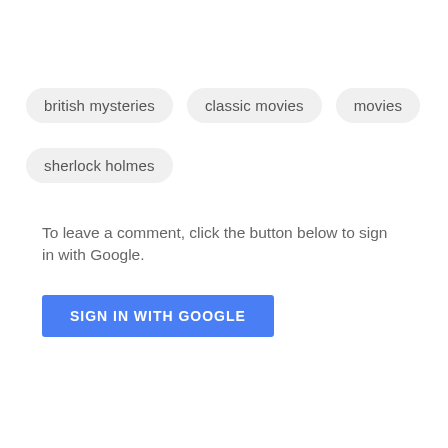british mysteries
classic movies
movies
sherlock holmes
To leave a comment, click the button below to sign in with Google.
SIGN IN WITH GOOGLE